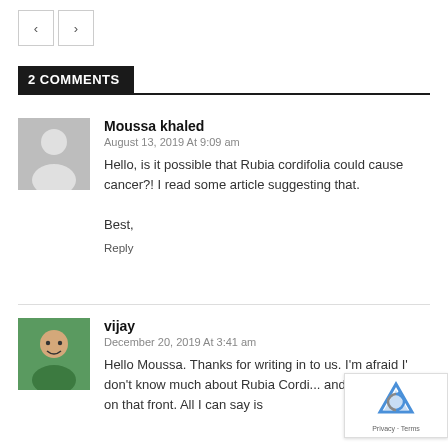[Figure (other): Navigation left and right arrow buttons]
2 COMMENTS
Moussa khaled
August 13, 2019 At 9:09 am
Hello, is it possible that Rubia cordifolia could cause cancer?! I read some article suggesting that.
Best,
Reply
vijay
December 20, 2019 At 3:41 am
Hello Moussa. Thanks for writing in to us. I'm afraid I' don't know much about Rubia Cordi... and can't help you on that front. All I can say is